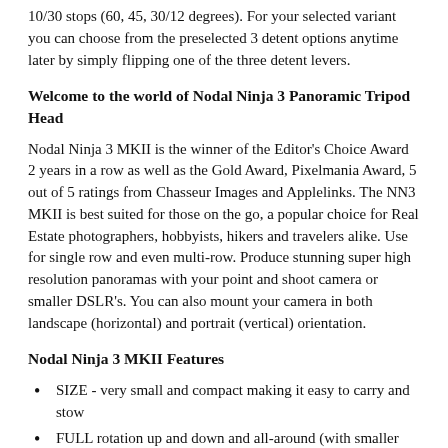10/30 stops (60, 45, 30/12 degrees). For your selected variant you can choose from the preselected 3 detent options anytime later by simply flipping one of the three detent levers.
Welcome to the world of Nodal Ninja 3 Panoramic Tripod Head
Nodal Ninja 3 MKII is the winner of the Editor’s Choice Award 2 years in a row as well as the Gold Award, Pixelmania Award, 5 out of 5 ratings from Chasseur Images and Applelinks. The NN3 MKII is best suited for those on the go, a popular choice for Real Estate photographers, hobbyists, hikers and travelers alike. Use for single row and even multi-row. Produce stunning super high resolution panoramas with your point and shoot camera or smaller DSLR’s. You can also mount your camera in both landscape (horizontal) and portrait (vertical) orientation.
Nodal Ninja 3 MKII Features
SIZE - very small and compact making it easy to carry and stow
FULL rotation up and down and all-around (with smaller cameras